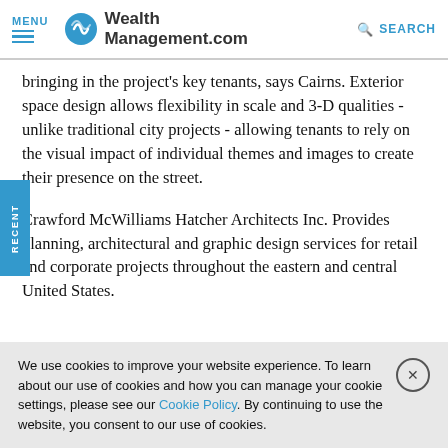MENU | WealthManagement.com | SEARCH
bringing in the project's key tenants, says Cairns. Exterior space design allows flexibility in scale and 3-D qualities - unlike traditional city projects - allowing tenants to rely on the visual impact of individual themes and images to create their presence on the street.
Crawford McWilliams Hatcher Architects Inc. Provides planning, architectural and graphic design services for retail and corporate projects throughout the eastern and central United States.
We use cookies to improve your website experience. To learn about our use of cookies and how you can manage your cookie settings, please see our Cookie Policy. By continuing to use the website, you consent to our use of cookies.